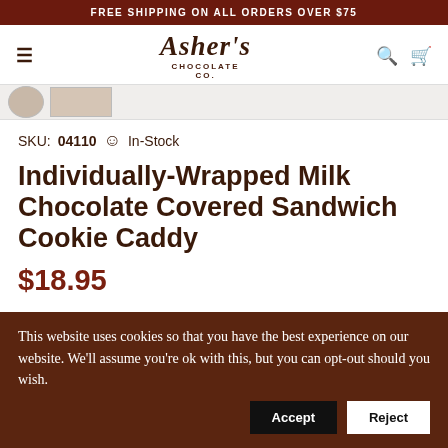FREE SHIPPING ON ALL ORDERS OVER $75
[Figure (logo): Asher's Chocolate Co. logo in serif italic script]
SKU: 04110  In-Stock
Individually-Wrapped Milk Chocolate Covered Sandwich Cookie Caddy
$18.95
This website uses cookies so that you have the best experience on our website. We'll assume you're ok with this, but you can opt-out should you wish.